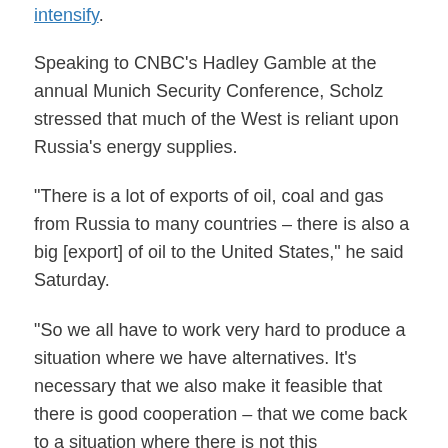intensify.
Speaking to CNBC's Hadley Gamble at the annual Munich Security Conference, Scholz stressed that much of the West is reliant upon Russia's energy supplies.
“There is a lot of exports of oil, coal and gas from Russia to many countries – there is also a big [export] of oil to the United States,” he said Saturday.
“So we all have to work very hard to produce a situation where we have alternatives. It’s necessary that we also make it feasible that there is good cooperation – that we come back to a situation where there is not this confrontation … This is what we are working for.”
Russia was the largest supplier of natural gas and oil to the